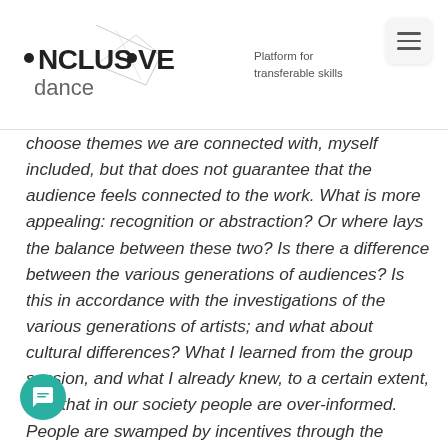•NCLUS•VE dance — Platform for transferable skills
choose themes we are connected with, myself included, but that does not guarantee that the audience feels connected to the work. What is more appealing: recognition or abstraction? Or where lays the balance between these two? Is there a difference between the various generations of audiences? Is this in accordance with the investigations of the various generations of artists; and what about cultural differences? What I learned from the group session, and what I already knew, to a certain extent, was that in our society people are over-informed. People are swamped by incentives through the internet and the many screens. However, as consequence young people who get the most incentives are easily bored. They have not learned (yet) how to receive art and how valuable an open mind